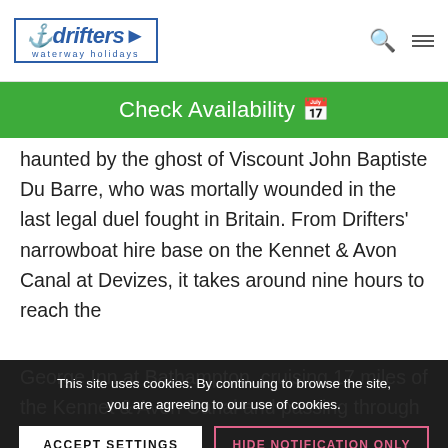drifters waterway holidays
Check Availability
haunted by the ghost of Viscount John Baptiste Du Barre, who was mortally wounded in the last legal duel fought in Britain. From Drifters' narrowboat hire base on the Kennet & Avon Canal at Devizes, it takes around nine hours to reach the George Inn at Bathampton, cruising 17 miles of the Kennet & Avon Canal and passing through eight locks.
This site uses cookies. By continuing to browse the site, you are agreeing to our use of cookies.
ACCEPT SETTINGS
HIDE NOTIFICATION ONLY
SETTINGS
5. W... ri Harecastle Tunnel
The Trent & Mersey Canal's Harecastle Tunnel at Kidsgrove is said to be home to a shrieking boggart – the ghost of Kit Crewbucket who was